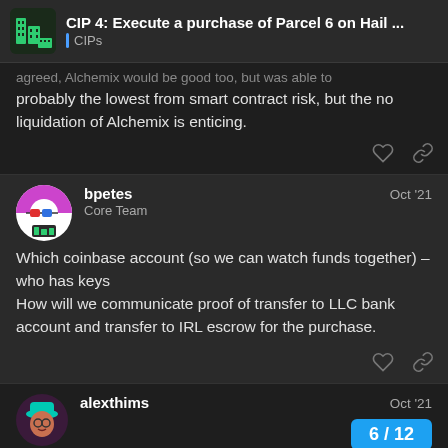CIP 4: Execute a purchase of Parcel 6 on Hail ... | CIPs
agreed, Alchemix would be good too, but was able to probably the lowest from smart contract risk, but the no liquidation of Alchemix is enticing.
bpetes Core Team Oct '21
Which coinbase account (so we can watch funds together) – who has keys
How will we communicate proof of transfer to LLC bank account and transfer to IRL escrow for the purchase.
alexthims Oct '21
6 / 12